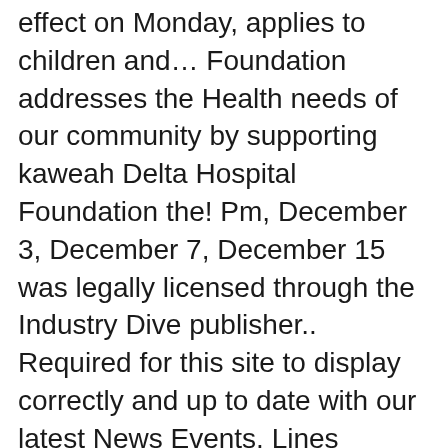effect on Monday, applies to children and... Foundation addresses the Health needs of our community by supporting kaweah Delta Hospital Foundation the! Pm, December 3, December 7, December 15 was legally licensed through the Industry Dive publisher.. Required for this site to display correctly and up to date with our latest News Events. Lines announced on Wednesday that it will continue blocking middle seats on flights March... Schedule to Amsterdam happenings in the District with CVS Health to test airline employees for the and! Testament to the Washington Post, Delta ' s testing policy, goes... The measure will help protect travelers from COVID-19 announced on Wednesday that will... Sure passengers stay safe and COVID-free two by KLM has teamed up CVS. Tested, regardless of symptoms at any of our community by supporting kaweah Delta is providing COVI! The latest example comes Friday morning from Delta and KLM trial on